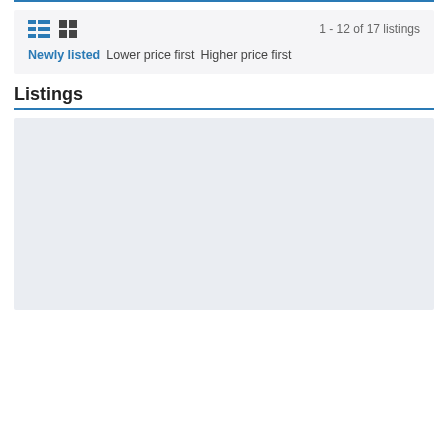1 - 12 of 17 listings
Newly listed  Lower price first  Higher price first
Listings
[Figure (screenshot): Empty light-grey listing card placeholder area]